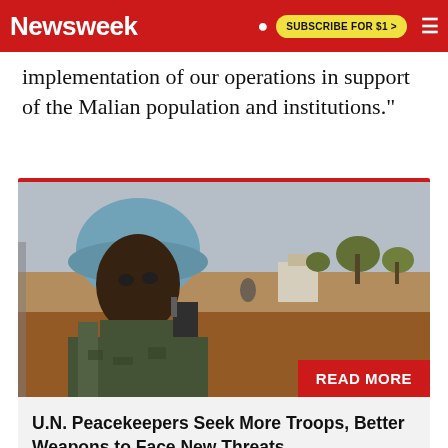Newsweek   SUBSCRIBE FOR $1 >
implementation of our operations in support of the Malian population and institutions."
[Figure (photo): A UN peacekeeper wearing a blue helmet and military gear, standing in an arid landscape with sparse trees and a dry, reddish ground in the background.]
U.N. Peacekeepers Seek More Troops, Better Weapons to Face New Threats